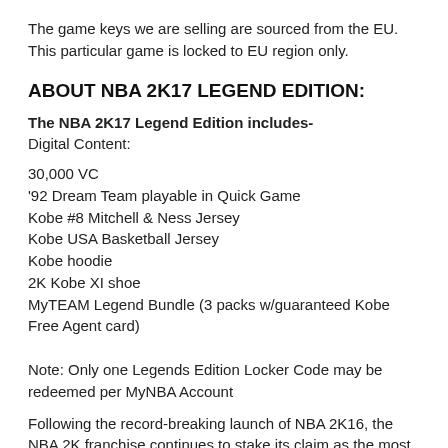The game keys we are selling are sourced from the EU. This particular game is locked to EU region only.
ABOUT NBA 2K17 LEGEND EDITION:
The NBA 2K17 Legend Edition includes-
Digital Content:
30,000 VC
'92 Dream Team playable in Quick Game
Kobe #8 Mitchell & Ness Jersey
Kobe USA Basketball Jersey
Kobe hoodie
2K Kobe XI shoe
MyTEAM Legend Bundle (3 packs w/guaranteed Kobe Free Agent card)
Note: Only one Legends Edition Locker Code may be redeemed per MyNBA Account
Following the record-breaking launch of NBA 2K16, the NBA 2K franchise continues to stake its claim as the most authentic sports video game with NBA 2K17. As